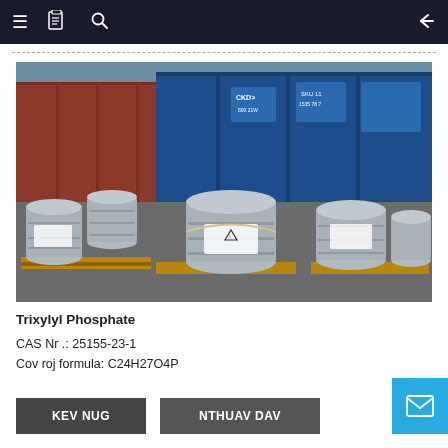≡ 📋 🔍  ←
[Figure (photo): Photograph of multiple large silver metal drums/barrels stacked on wooden pallets outdoors, with shipping containers (red and blue) in the background. The barrels appear to contain industrial chemicals and have hazard labels on them.]
Trixylyl Phosphate
CAS Nr .: 25155-23-1
Cov roj formula: C24H27O4P
KEV NUG
NTHUAV DAV